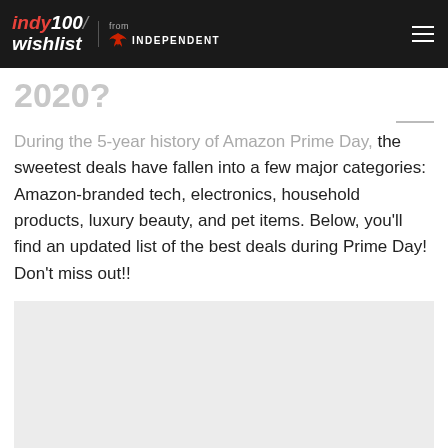indy100/ wishlist from INDEPENDENT
2020?
During the 5-year history of Amazon Prime Day, the sweetest deals have fallen into a few major categories: Amazon-branded tech, electronics, household products, luxury beauty, and pet items. Below, you'll find an updated list of the best deals during Prime Day! Don't miss out!!
[Figure (other): Gray advertisement placeholder block]